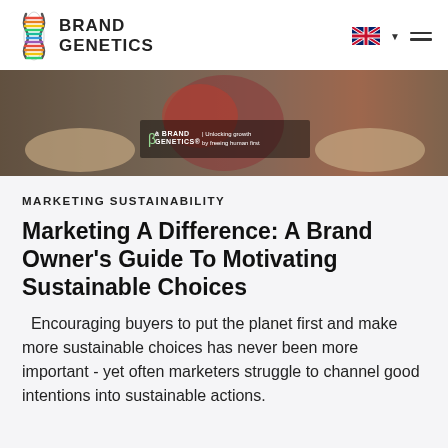[Figure (logo): Brand Genetics logo with colorful DNA double helix icon and bold uppercase text BRAND GENETICS]
[Figure (photo): Hands holding a heart-shaped wool or textile object, with Brand Genetics branding overlay reading 'Unlocking growth by freeing human first']
MARKETING SUSTAINABILITY
Marketing A Difference: A Brand Owner's Guide To Motivating Sustainable Choices
Encouraging buyers to put the planet first and make more sustainable choices has never been more important - yet often marketers struggle to channel good intentions into sustainable actions.